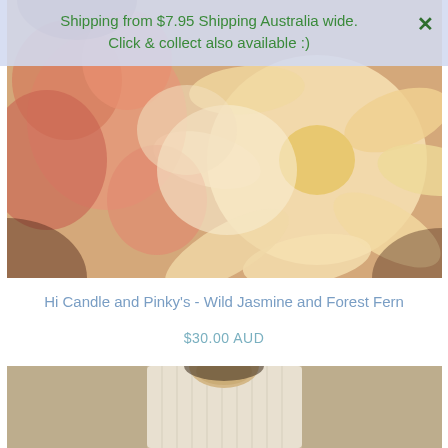[Figure (photo): Close-up photograph of peach, cream and pink flowers (dahlias and carnations) in full bloom, filling the upper portion of the page]
Shipping from $7.95 Shipping Australia wide. Click & collect also available :)
Hi Candle and Pinky's - Wild Jasmine and Forest Fern
$30.00 AUD
[Figure (photo): Partial photo of a woman wearing a cream/white pleated or ribbed blouse with a decorative collar, cropped at shoulder level]